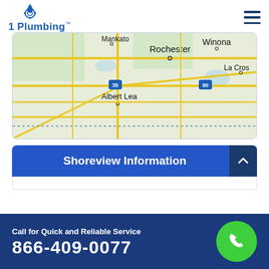[Figure (logo): 1 Plumbing logo with water drop and gear icon in blue]
[Figure (map): Google Maps screenshot showing Minnesota/Wisconsin area with Rochester, Winona, Albert Lea, La Crosse labeled, highways 35 and 90 visible]
Shoreview Information
Call for Quick and Reliable Service
866-409-0077